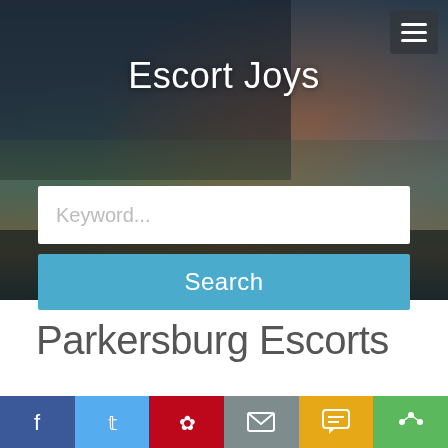[Figure (screenshot): Hero banner with blurred city night background image]
Escort Joys
Keyword...
Search
Parkersburg Escorts
[Figure (infographic): Social share bar with Facebook, Twitter, Pinterest, Email, SMS, and share buttons]